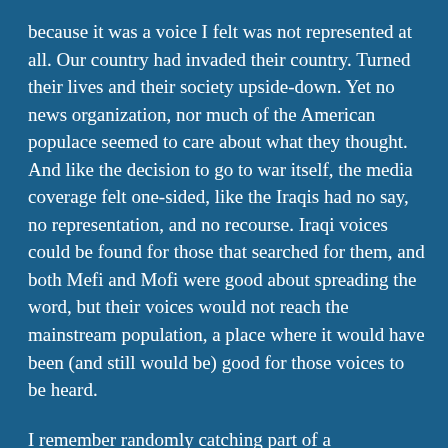because it was a voice I felt was not represented at all. Our country had invaded their country. Turned their lives and their society upside-down. Yet no news organization, nor much of the American populace seemed to care about what they thought. And like the decision to go to war itself, the media coverage felt one-sided, like the Iraqis had no say, no representation, and no recourse. Iraqi voices could be found for those that searched for them, and both Mefi and Mofi were good about spreading the word, but their voices would not reach the mainstream population, a place where it would have been (and still would be) good for those voices to be heard.
I remember randomly catching part of a retrospective on Walter Cronkite some time ago, and it showed a clip of his Vietnam War coverage. It was amazing how different television news was, not so long ago. He showed an interview with a distraught Vietnamese villager talking about what American troops had done to his farm. He...